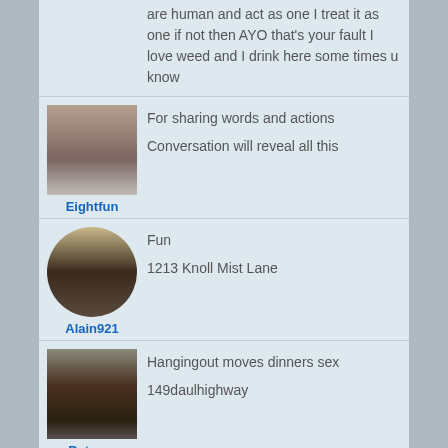are human and act as one I treat it as one if not then AYO that's your fault I love weed and I drink here some times u know
[Figure (photo): Profile photo of user Eightfun - middle-aged man in a car]
Eightfun
For sharing words and actions

Conversation will reveal all this
[Figure (photo): Profile photo of user Alain921 - dark-skinned man, circular crop]
Alain921
Fun

1213 Knoll Mist Lane
[Figure (photo): Profile photo of user Batman - bearded man wearing black beanie]
Batman
Hangingout moves dinners sex

149daulhighway
[Figure (photo): Profile photo of fourth user - man outdoors]
Helllo my fridn

Your life style, profession, achievements, education, family, goals in life, likes and dislikes, pets, favourite